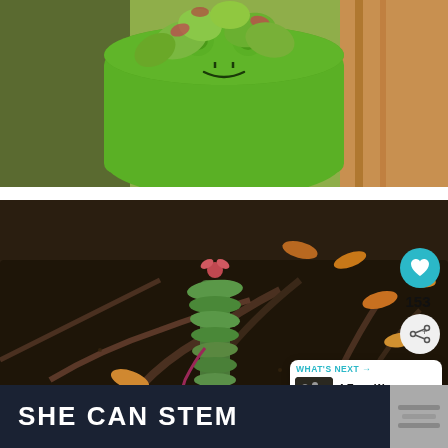[Figure (photo): Top-down view of succulent plants in a bright green frog-shaped ceramic pot with a smiley face, placed on a wooden surface]
[Figure (photo): Close-up overhead view of a mixed succulent arrangement with green, orange, and red-edged leaves growing from dark twisted stems in a dark pot, with UI overlays showing a heart button (153 likes), share button, and a 'What's Next' card with text '4 Easy Ways to Propagat...']
153
WHAT'S NEXT →
4 Easy Ways to Propagat...
SHE CAN STEM